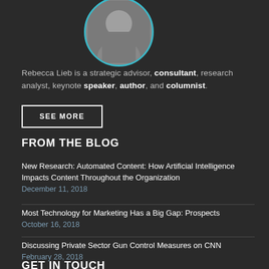[Figure (photo): Circular profile photo of Rebecca Lieb with teal/cyan border, partially cropped at top]
Rebecca Lieb is a strategic advisor, consultant, research analyst, keynote speaker, author, and columnist.
SEE MORE
FROM THE BLOG
New Research: Automated Content: How Artificial Intelligence Impacts Content Throughout the Organization
December 11, 2018
Most Technology for Marketing Has a Big Gap: Prospects
October 16, 2018
Discussing Private Sector Gun Control Measures on CNN
February 28, 2018
GET IN TOUCH